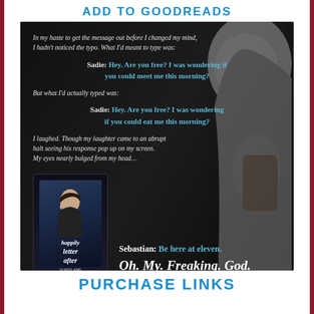ADD TO GOODREADS
[Figure (illustration): Book promotional image with dark background showing a blonde woman holding a phone. Contains quote text about a typo in a message to 'Sadie' involving 'meet me' vs 'eat me', and Sebastian's response 'Be here at eleven.' with tagline 'Oh. My. Freaking. God.' Also shows book cover for 'Happily Letter After' by Vi Keeland and Penelope Ward.]
PURCHASE LINKS